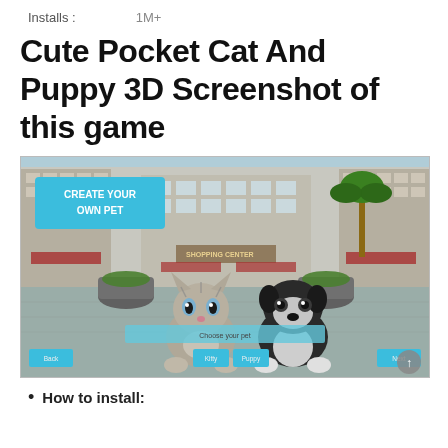Installs :    1M+
Cute Pocket Cat And Puppy 3D Screenshot of this game
[Figure (screenshot): Screenshot of the Cute Pocket Cat And Puppy 3D mobile game showing a 3D cat and dog in front of a shopping center, with a 'CREATE YOUR OWN PET' button, 'Choose your pet' bar, and navigation buttons (Back, Kitty, Puppy, Next).]
How to install: